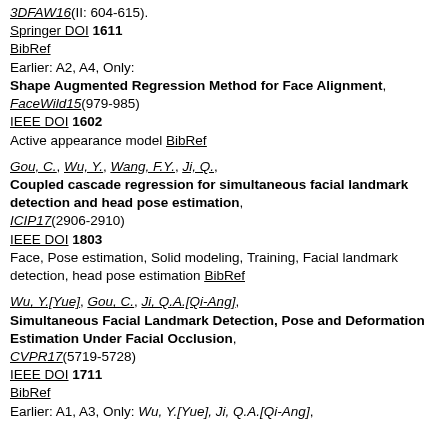3DFAW16(II: 604-615). Springer DOI 1611 BibRef Earlier: A2, A4, Only: Shape Augmented Regression Method for Face Alignment, FaceWild15(979-985) IEEE DOI 1602 Active appearance model BibRef
Gou, C., Wu, Y., Wang, F.Y., Ji, Q., Coupled cascade regression for simultaneous facial landmark detection and head pose estimation, ICIP17(2906-2910) IEEE DOI 1803 Face, Pose estimation, Solid modeling, Training, Facial landmark detection, head pose estimation BibRef
Wu, Y.[Yue], Gou, C., Ji, Q.A.[Qi-Ang], Simultaneous Facial Landmark Detection, Pose and Deformation Estimation Under Facial Occlusion, CVPR17(5719-5728) IEEE DOI 1711 BibRef Earlier: A1, A3, Only: Wu, Y.[Yue], Ji, Q.A.[Qi-Ang],